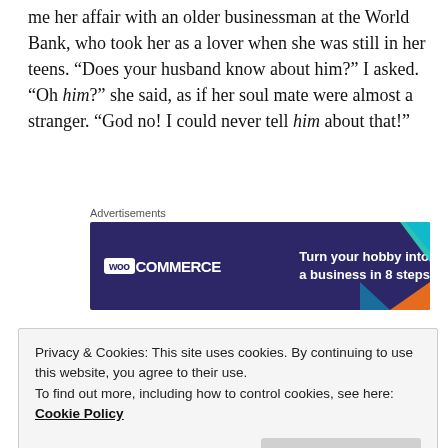me her affair with an older businessman at the World Bank, who took her as a lover when she was still in her teens. “Does your husband know about him?” I asked. “Oh him?” she said, as if her soul mate were almost a stranger. “God no! I could never tell him about that!”
[Figure (other): WooCommerce advertisement banner: dark purple background with teal and orange geometric shapes. WooCommerce logo on left. Text reads 'Turn your hobby into a business in 8 steps']
And there it was again. This woman was willing to tell any random stranger about her sexual exploits
Privacy & Cookies: This site uses cookies. By continuing to use this website, you agree to their use.
To find out more, including how to control cookies, see here: Cookie Policy
truth buried in the cellar for so long before it starts